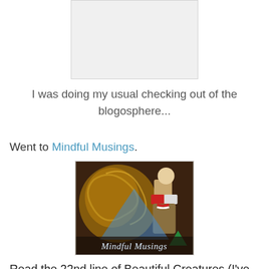[Figure (other): A white/light gray rectangular image placeholder at the top center of the page]
I was doing my usual checking out of the blogosphere...
Went to Mindful Musings.
[Figure (illustration): Mindful Musings blog logo image — dark golden background with decorative scroll, figure reading a book, triangular logo overlay, and 'Mindful Musings' text in cursive at the bottom]
Read the 22nd line of Beautiful Creatures (I've got to start that one) and then saw that Staysi from Lost in Ink is a new affiliate. Very happy